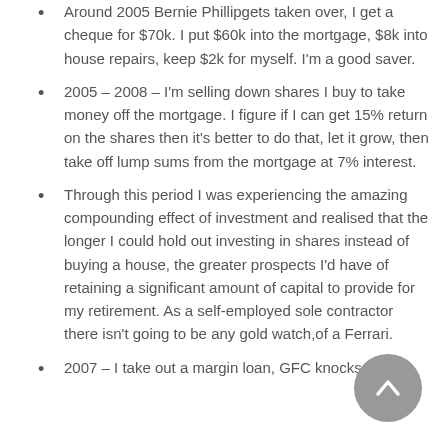Around 2005 Bernie Phillipgets taken over, I get a cheque for $70k. I put $60k into the mortgage, $8k into house repairs, keep $2k for myself. I'm a good saver.
2005 – 2008 – I'm selling down shares I buy to take money off the mortgage. I figure if I can get 15% return on the shares then it's better to do that, let it grow, then take off lump sums from the mortgage at 7% interest.
Through this period I was experiencing the amazing compounding effect of investment and realised that the longer I could hold out investing in shares instead of buying a house, the greater prospects I'd have of retaining a significant amount of capital to provide for my retirement. As a self-employed sole contractor there isn't going to be any gold watch,of a Ferrari.
2007 – I take out a margin loan, GFC knocks on